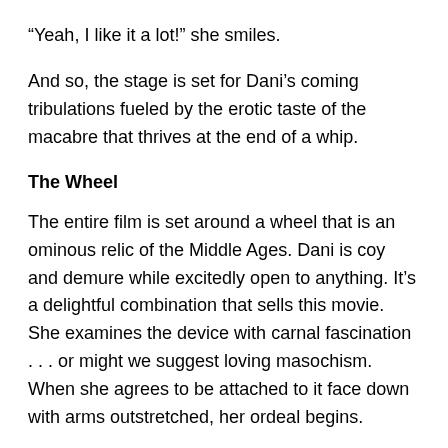“Yeah, I like it a lot!” she smiles.
And so, the stage is set for Dani’s coming tribulations fueled by the erotic taste of the macabre that thrives at the end of a whip.
The Wheel
The entire film is set around a wheel that is an ominous relic of the Middle Ages. Dani is coy and demure while excitedly open to anything. It’s a delightful combination that sells this movie. She examines the device with carnal fascination . . . or might we suggest loving masochism. When she agrees to be attached to it face down with arms outstretched, her ordeal begins.
With the first blows of the riding crop, Jac asks “Do you like it?”